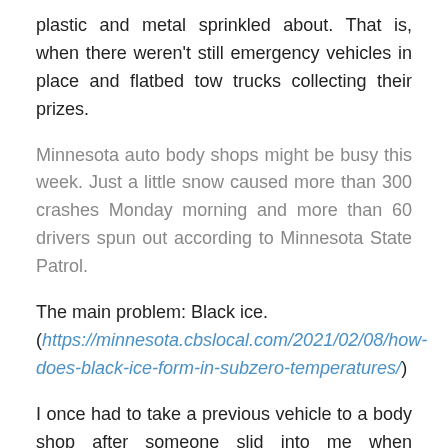plastic and metal sprinkled about. That is, when there weren't still emergency vehicles in place and flatbed tow trucks collecting their prizes.
Minnesota auto body shops might be busy this week. Just a little snow caused more than 300 crashes Monday morning and more than 60 drivers spun out according to Minnesota State Patrol.
The main problem: Black ice. (https://minnesota.cbslocal.com/2021/02/08/how-does-black-ice-form-in-subzero-temperatures/)
I once had to take a previous vehicle to a body shop after someone slid into me when conditions were slippery. It's the worst time ever to need repairs. The repair shops get inundated with work all at once. No fun for the shop that result finding faster and